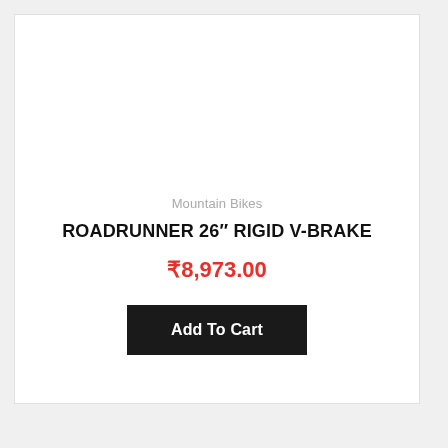Mountain Bikes
ROADRUNNER 26" RIGID V-BRAKE
₹8,973.00
Add To Cart